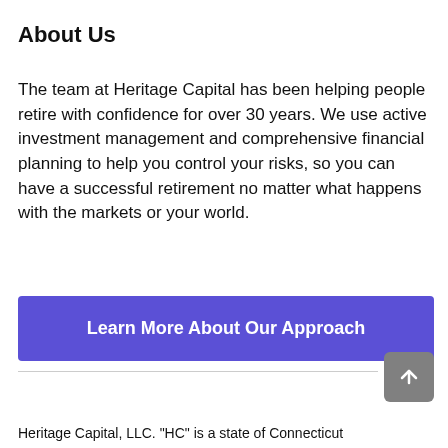About Us
The team at Heritage Capital has been helping people retire with confidence for over 30 years. We use active investment management and comprehensive financial planning to help you control your risks, so you can have a successful retirement no matter what happens with the markets or your world.
[Figure (other): Purple CTA button with text 'Learn More About Our Approach']
Heritage Capital, LLC. "HC" is a state of Connecticut